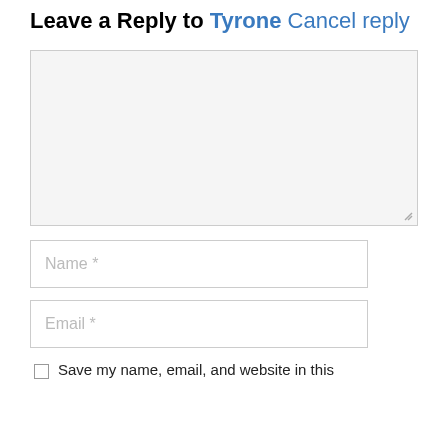Leave a Reply to Tyrone Cancel reply
[Figure (screenshot): Large comment text area input box, light gray background with resize handle at bottom right]
[Figure (screenshot): Name input field with placeholder text 'Name *']
[Figure (screenshot): Email input field with placeholder text 'Email *']
Save my name, email, and website in this